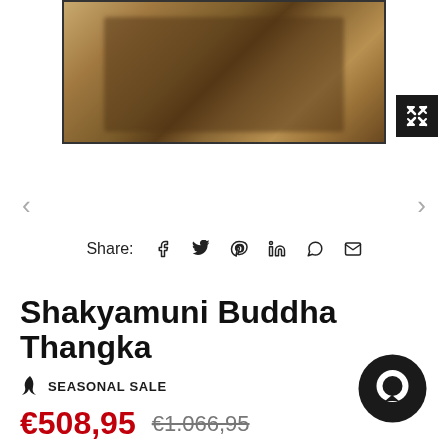[Figure (photo): Product image of Shakyamuni Buddha Thangka painting with golden/brown tones showing Buddhist figures, partially cropped. An expand/fullscreen button (black square with X icon) is visible to the right.]
< (left navigation arrow)
> (right navigation arrow)
Share: [facebook] [twitter] [pinterest] [linkedin] [whatsapp] [email]
Shakyamuni Buddha Thangka
🔥 SEASONAL SALE
€508,95  €1.066,95